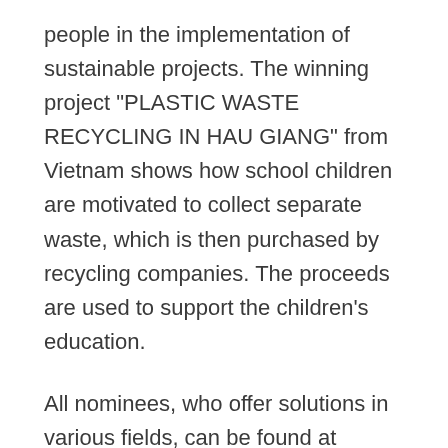people in the implementation of sustainable projects. The winning project "PLASTIC WASTE RECYCLING IN HAU GIANG" from Vietnam shows how school children are motivated to collect separate waste, which is then purchased by recycling companies. The proceeds are used to support the children's education.
All nominees, who offer solutions in various fields, can be found at www.energyglobe.info, as well as the top celebrities from all five continents who participated in the award ceremony.
Energy Globe shows once again great and innovative environmental projects from all over the world and the award ceremony...